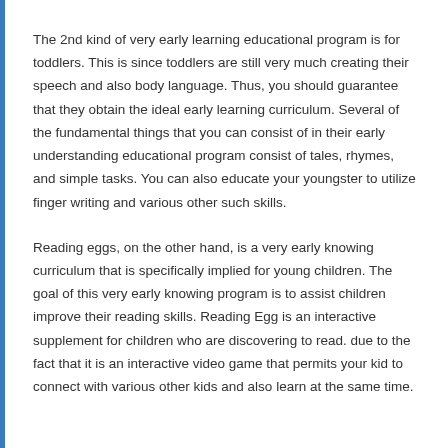The 2nd kind of very early learning educational program is for toddlers. This is since toddlers are still very much creating their speech and also body language. Thus, you should guarantee that they obtain the ideal early learning curriculum. Several of the fundamental things that you can consist of in their early understanding educational program consist of tales, rhymes, and simple tasks. You can also educate your youngster to utilize finger writing and various other such skills.
Reading eggs, on the other hand, is a very early knowing curriculum that is specifically implied for young children. The goal of this very early knowing program is to assist children improve their reading skills. Reading Egg is an interactive supplement for children who are discovering to read. due to the fact that it is an interactive video game that permits your kid to connect with various other kids and also learn at the same time.